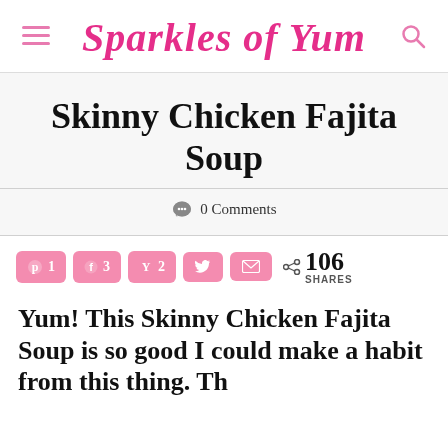Sparkles of Yum
Skinny Chicken Fajita Soup
0 Comments
[Figure (infographic): Social share buttons: Pinterest (1), Facebook (3), Yummly (2), Twitter, Email. Total 106 SHARES.]
Yum! This Skinny Chicken Fajita Soup is so good I could make a habit from this thing. Th…